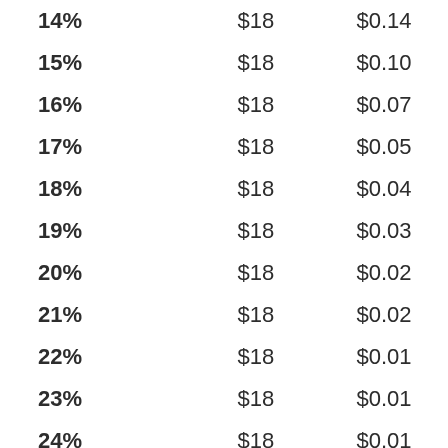| 14% | $18 | $0.14 |
| 15% | $18 | $0.10 |
| 16% | $18 | $0.07 |
| 17% | $18 | $0.05 |
| 18% | $18 | $0.04 |
| 19% | $18 | $0.03 |
| 20% | $18 | $0.02 |
| 21% | $18 | $0.02 |
| 22% | $18 | $0.01 |
| 23% | $18 | $0.01 |
| 24% | $18 | $0.01 |